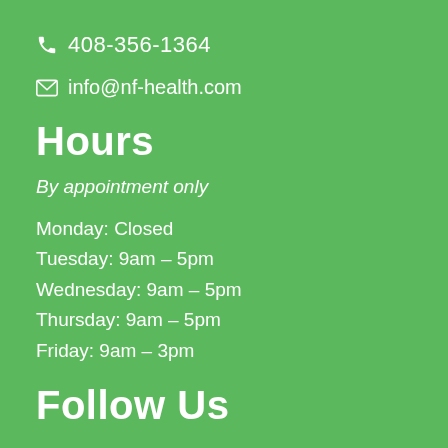408-356-1364
info@nf-health.com
Hours
By appointment only
Monday: Closed
Tuesday: 9am – 5pm
Wednesday: 9am – 5pm
Thursday: 9am – 5pm
Friday: 9am – 3pm
Follow Us